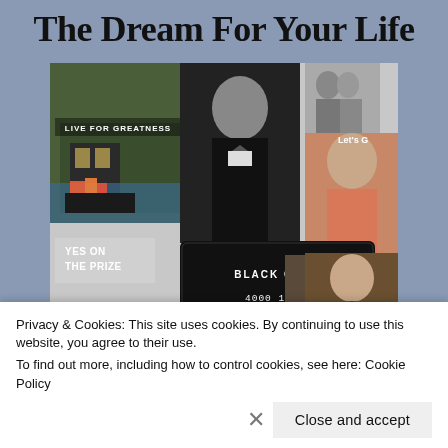The Dream For Your Life
[Figure (photo): A collage-style vision board featuring: a luxury home at night with text 'LIVE FOR GREATNESS', a black and white photo of a man in a tuxedo, a couple photo, a man in a pink/salmon shirt, a black Visa credit card labeled 'BLACK CARD.' with number '4000 1234 5678 9010', a magazine snippet reading 'Films That May Spark Frenzy', a woman with a camera, a man in a brown leather jacket, and text 'YES ON THE PRIZE'.]
Privacy & Cookies: This site uses cookies. By continuing to use this website, you agree to their use.
To find out more, including how to control cookies, see here: Cookie Policy
Close and accept